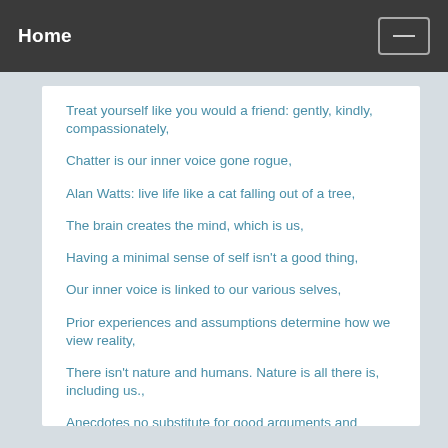Home
Treat yourself like you would a friend: gently, kindly, compassionately,
Chatter is our inner voice gone rogue,
Alan Watts: live life like a cat falling out of a tree,
The brain creates the mind, which is us,
Having a minimal sense of self isn't a good thing,
Our inner voice is linked to our various selves,
Prior experiences and assumptions determine how we view reality,
There isn't nature and humans. Nature is all there is, including us.,
Anecdotes no substitute for good arguments and evidence